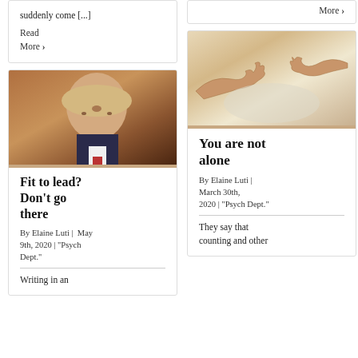suddenly come [...]
Read More ›
More ›
[Figure (photo): Portrait photo of a man with white-blond hair, side profile, wearing dark suit and red tie]
Fit to lead? Don't go there
By Elaine Luti |  May 9th, 2020 | "Psych Dept."
Writing in an
[Figure (photo): Michelangelo's Creation of Adam painting detail showing two hands nearly touching]
You are not alone
By Elaine Luti | March 30th, 2020 | "Psych Dept."
They say that counting and other